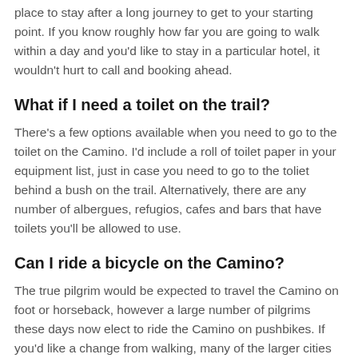place to stay after a long journey to get to your starting point. If you know roughly how far you are going to walk within a day and you'd like to stay in a particular hotel, it wouldn't hurt to call and booking ahead.
What if I need a toilet on the trail?
There's a few options available when you need to go to the toilet on the Camino. I'd include a roll of toilet paper in your equipment list, just in case you need to go to the toliet behind a bush on the trail. Alternatively, there are any number of albergues, refugios, cafes and bars that have toilets you'll be allowed to use.
Can I ride a bicycle on the Camino?
The true pilgrim would be expected to travel the Camino on foot or horseback, however a large number of pilgrims these days now elect to ride the Camino on pushbikes. If you'd like a change from walking, many of the larger cities on the route have bike stores that offer